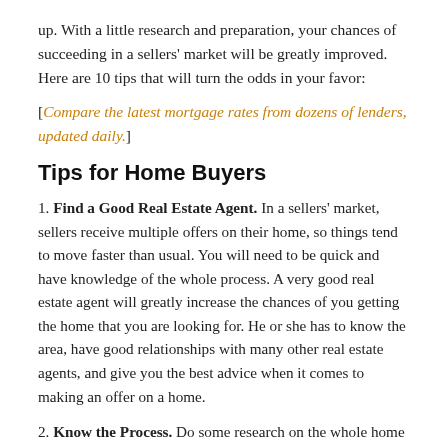up. With a little research and preparation, your chances of succeeding in a sellers' market will be greatly improved. Here are 10 tips that will turn the odds in your favor:
[Compare the latest mortgage rates from dozens of lenders, updated daily.]
Tips for Home Buyers
1. Find a Good Real Estate Agent. In a sellers' market, sellers receive multiple offers on their home, so things tend to move faster than usual. You will need to be quick and have knowledge of the whole process. A very good real estate agent will greatly increase the chances of you getting the home that you are looking for. He or she has to know the area, have good relationships with many other real estate agents, and give you the best advice when it comes to making an offer on a home.
2. Know the Process. Do some research on the whole home buying process. From knowing what to look at when considering a house or apartment, to knowing the steps involved in buying a home, this process can be overwhelming. You must also be aware of what you